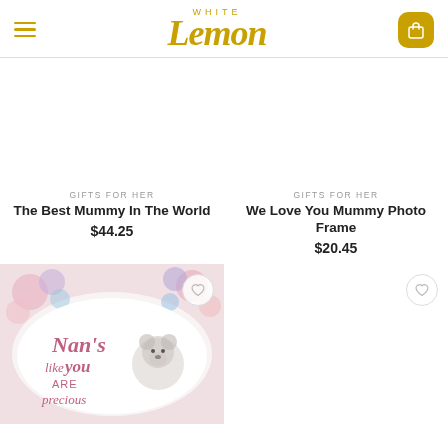White Lemon
GIFTS FOR HER
The Best Mummy In The World
$44.25
GIFTS FOR HER
We Love You Mummy Photo Frame
$20.45
[Figure (photo): A decorative cushion/pillow with floral design showing a Tatty Teddy bear and text reading "Nan's like you are precious"]
[Figure (other): Empty product image area with a wishlist heart button]